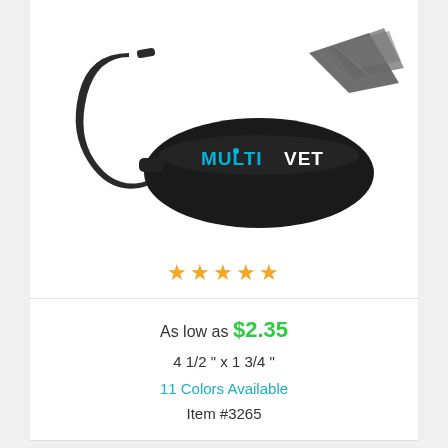[Figure (photo): Black pet waste bag dispenser with carabiner clip, branded with 'MultiVet' logo in blue and white text, with bags coming out of the top.]
★★★★★
As low as $2.35
4 1/2 " x 1 3/4 "
11 Colors Available
Item #3265
Post-it® Pop-Up Note & Flag Dispenser - Laser Engraved
[Figure (logo): Post-it brand logo in yellow and gold with italic text.]